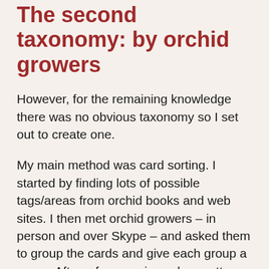The second taxonomy: by orchid growers
However, for the remaining knowledge there was no obvious taxonomy so I set out to create one.
My main method was card sorting. I started by finding lots of possible tags/areas from orchid books and web sites. I then met orchid growers – in person and over Skype – and asked them to group the cards and give each group a name. After a few sessions clear patterns emerged and a taxonomy came in to being.
1 thing I learnt
I also had a taxonomy...